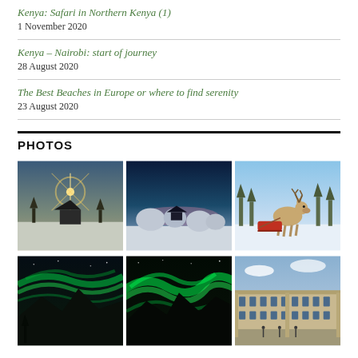Kenya: Safari in Northern Kenya (1)
1 November 2020
Kenya – Nairobi: start of journey
28 August 2020
The Best Beaches in Europe or where to find serenity
23 August 2020
PHOTOS
[Figure (photo): Grid of 6 travel photos: winter landscape with sunburst and hut, snowy blue twilight scene, reindeer pulling a sled, northern lights over mountains (x2), and a grand European building courtyard.]